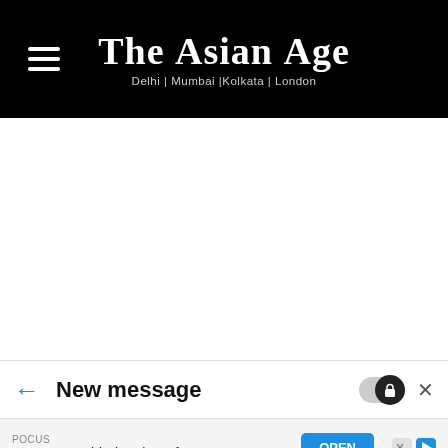The Asian Age — Delhi | Mumbai | Kolkata | London
New message
[Figure (screenshot): Advertisement banner for POCUS World Virtual Conference with an OPEN button]